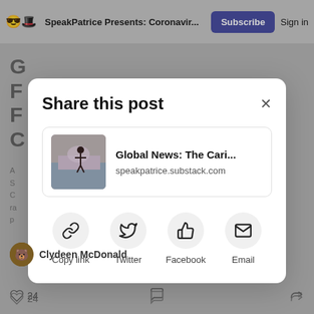SpeakPatrice Presents: Coronavir... Subscribe Sign in
[Figure (screenshot): Share this post modal dialog with post card showing 'Global News: The Cari...' at speakpatrice.substack.com, and four share buttons: Copy link, Twitter, Facebook, Email]
Clydeen McDonald
24 (likes) (comment) (share)